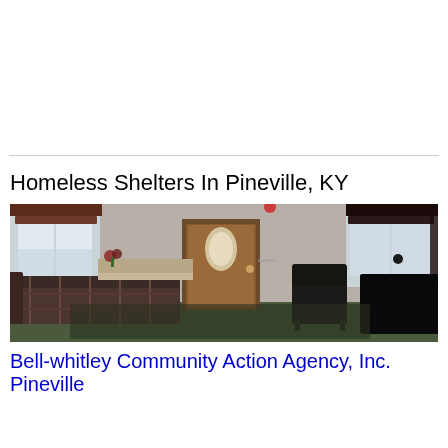Homeless Shelters In Pineville, KY
[Figure (photo): Interior of a homeless shelter showing a living room with plaid couches, a wooden door with oval window, chairs, and carpeted floor]
Bell-whitley Community Action Agency, Inc.
Pineville